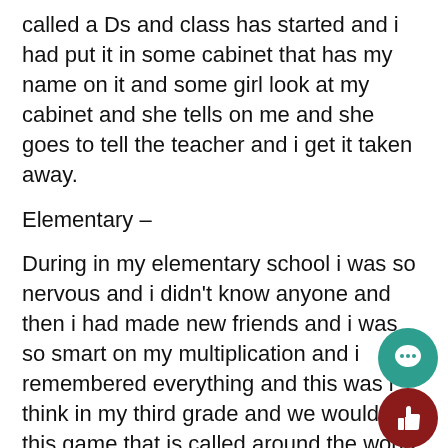called a Ds and class has started and i had put it in some cabinet that has my name on it and some girl look at my cabinet and she tells on me and she goes to tell the teacher and i get it taken away.
Elementary –
During in my elementary school i was so nervous and i didn't know anyone and then i had made new friends and i was so smart on my multiplication and i remembered everything and this was i think in my third grade and we would play this game that is called around the world and its a one on one challenge and if one of person gets it right the other person goes back of the line and stuff I would beat every student in the line with the multiplication and i couldn't be beaten until you get five right you go again but at the back of the line and i would get in trouble for everything and was a troublemaker and i would get suspended and